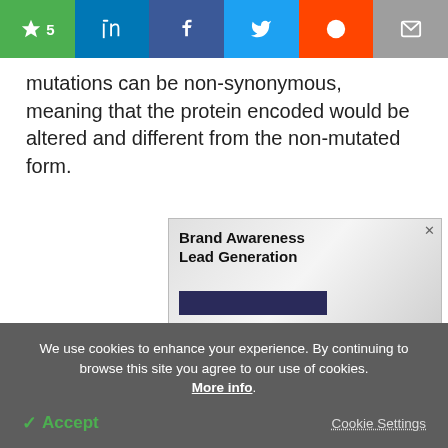[Figure (other): Social sharing bar with star/bookmark (green, count 5), LinkedIn (blue), Facebook (dark blue), Twitter (light blue), Reddit (orange), Email (grey) buttons]
mutations can be non-synonymous, meaning that the protein encoded would be altered and different from the non-mutated form.
[Figure (other): AZO Network advertisement banner: Brand Awareness Lead Generation. VIEW OUR MEDIA KIT button. AZO NETWORK logo.]
We use cookies to enhance your experience. By continuing to browse this site you agree to our use of cookies. More info. Accept | Cookie Settings